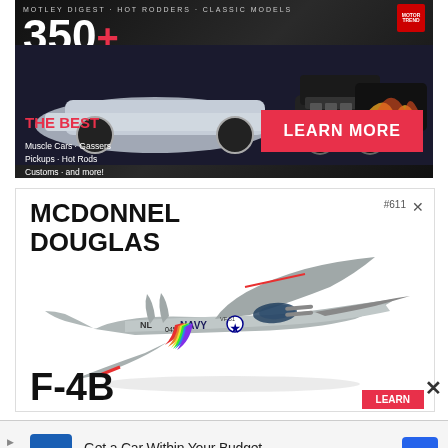[Figure (illustration): Advertisement for a model car magazine featuring '350+ GREAT MODELS' with images of model muscle cars, a red LEARN MORE button, and text listing 'Muscle Cars · Gassers, Pickups · Hot Rods, Customs · and more!']
[Figure (illustration): Advertisement for McDonnel Douglas F-4B Navy jet model (#611), showing a silver/grey scale model of an F-4 Phantom fighter jet with Navy markings (NL, 0456, VF-51), rainbow tail markings, with the text 'McDONNEL DOUGLAS' at top and 'F-4B' at bottom.]
[Figure (illustration): CarMax banner advertisement at the bottom: 'Get a Car Within Your Budget' with CarMax logo and blue navigation arrow icon.]